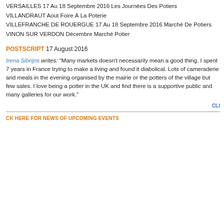VERSAILLES 17 Au 18 Septembre 2016 Les Journées Des Potiers
VILLANDRAUT Aout Foire À La Poterie
VILLEFRANCHE DE ROUERGUE 17 Au 18 Septembre 2016 Marché De Potiers
VINON SUR VERDON Décembre Marché Potier
POSTSCRIPT 17 August 2016
Irena Sibrijns writes: "Many markets doesn't necessarily mean a good thing. I spent 7 years in France trying to make a living and found it diabolical. Lots of cameraderie and meals in the evening organised by the mairie or the potters of the village but few sales. I love being a potter in the UK and find there is a supportive public and many galleries for our work."
CLICK HERE FOR NEWS OF UPCOMING EVENTS